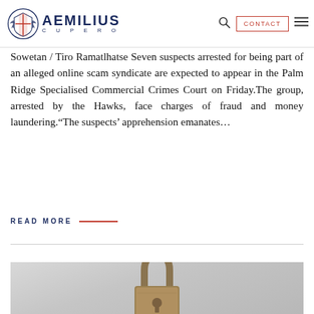AEMILIUS CUPERO
Sowetan / Tiro Ramatlhatse Seven suspects arrested for being part of an alleged online scam syndicate are expected to appear in the Palm Ridge Specialised Commercial Crimes Court on Friday.The group, arrested by the Hawks, face charges of fraud and money laundering.“The suspects’ apprehension emanates…
READ MORE
[Figure (photo): A weathered brass padlock photographed against a light grey background]